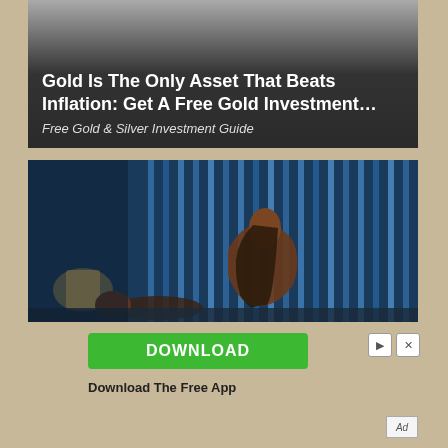[Figure (infographic): Advertisement banner with dark gradient background showing text: Gold Is The Only Asset That Beats Inflation: Get A Free Gold Investment... with subtitle Free Gold & Silver Investment Guide]
[Figure (photo): Photo of a woman sitting up in bed in a dimly lit blue-toned bedroom, a man lying down next to her, lamp on nightstand]
DOWNLOAD
Download The Free App
Ad